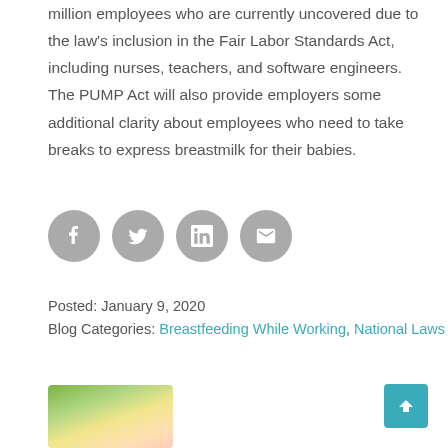million employees who are currently uncovered due to the law's inclusion in the Fair Labor Standards Act, including nurses, teachers, and software engineers. The PUMP Act will also provide employers some additional clarity about employees who need to take breaks to express breastmilk for their babies.
[Figure (infographic): Four circular gray social sharing buttons: Facebook, Twitter, LinkedIn, Email]
Posted: January 9, 2020
Blog Categories: Breastfeeding While Working, National Laws
[Figure (photo): Partial photo of a baby breastfeeding, cropped at bottom of page]